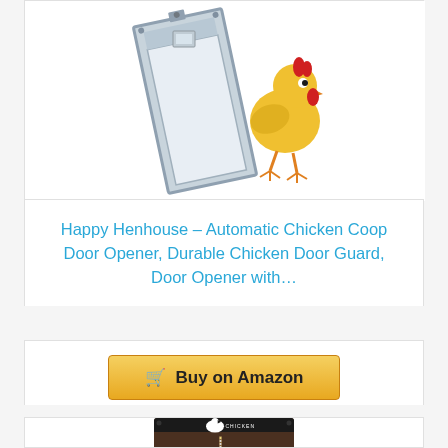[Figure (photo): Product image of an automatic chicken coop door opener showing a silver/aluminum door panel tilted at an angle with a cartoon chicken graphic to the right]
Happy Henhouse – Automatic Chicken Coop Door Opener, Durable Chicken Door Guard, Door Opener with…
Buy on Amazon
[Figure (photo): Partial image of a Run-Chicken automatic chicken coop door opener device, dark brown/black colored with the Run-Chicken brand logo and controls visible at the top]